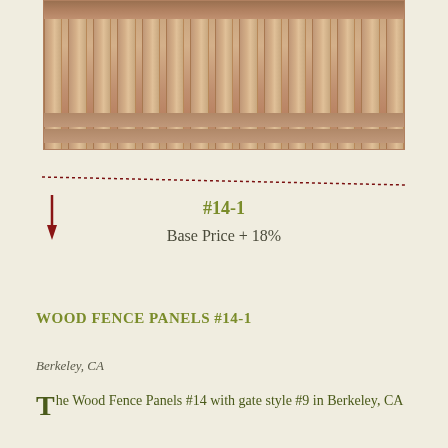[Figure (photo): Photograph of wood fence panels #14-1, showing cedar/redwood horizontal slats with vertical grille bars at the top, viewed from above/front angle.]
[Figure (other): Decorative dark red dotted/dashed horizontal divider line with a downward-pointing arrow on the left side.]
#14-1
Base Price + 18%
WOOD FENCE PANELS #14-1
Berkeley, CA
The Wood Fence Panels #14 with gate style #9 in Berkeley, CA